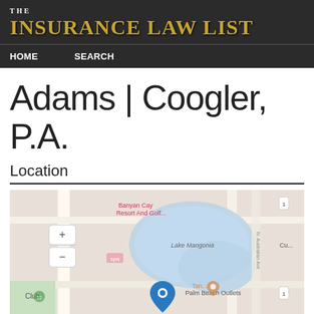THE INSURANCE LAW LIST
HOME   SEARCH
Adams | Coogler, P.A.
Location
[Figure (map): Google Maps view showing location pin near Lake Mangonia and Palm Beach Outlets, West Palm Beach, FL. Map shows Banyan Cay Resort and Golf to the north, lake area in center, and a blue location marker south of the lake.]